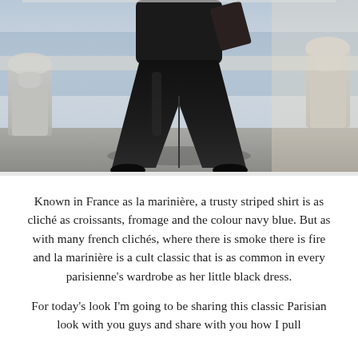[Figure (photo): A person dressed in all black (black wide-leg trousers, black top, black shoes) photographed from the waist down, standing in front of stone balustrades with water visible in the background. Bright sunlight creates strong shadows.]
Known in France as la marinière, a trusty striped shirt is as cliché as croissants, fromage and the colour navy blue. But as with many french clichés, where there is smoke there is fire and la marinière is a cult classic that is as common in every parisienne's wardrobe as her little black dress.
For today's look I'm going to be sharing this classic Parisian look with you guys and share with you how I pull